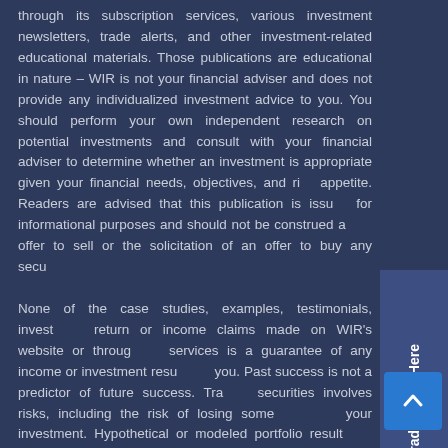through its subscription services, various investment newsletters, trade alerts, and other investment-related educational materials. Those publications are educational in nature – WIR is not your financial adviser and does not provide any individualized investment advice to you. You should perform your own independent research on potential investments and consult with your financial adviser to determine whether an investment is appropriate given your financial needs, objectives, and risk appetite. Readers are advised that this publication is issued for informational purposes and should not be construed as an offer to sell or the solicitation of an offer to buy any securities.
None of the case studies, examples, testimonials, investment return or income claims made on WIR's website or through its services is a guarantee of any income or investment results for you. Past success is not a predictor of future success. Trading securities involves risks, including the risk of losing some or all of your investment. Hypothetical or modeled portfolio results do not represent the results of an actually invested portfolio and are not back-tested for accuracy under actual, historical market conditions. There can be tax consequences to trading; consult you're your tax adviser before entering into trades. For additional WIR disclosures and policies, please click the links below.
[Figure (other): Vertical sidebar button with text 'Get Trade Alerts Here' rotated 90 degrees on a dark blue background]